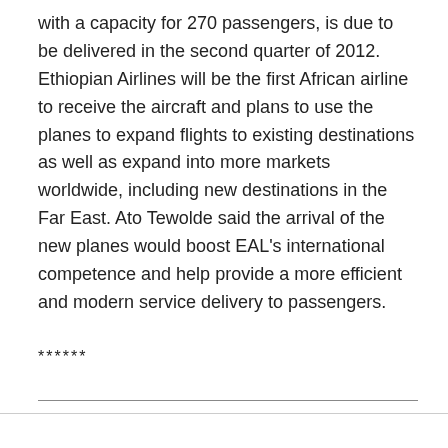with a capacity for 270 passengers, is due to be delivered in the second quarter of 2012. Ethiopian Airlines will be the first African airline to receive the aircraft and plans to use the planes to expand flights to existing destinations as well as expand into more markets worldwide, including new destinations in the Far East. Ato Tewolde said the arrival of the new planes would boost EAL's international competence and help provide a more efficient and modern service delivery to passengers.
******
–